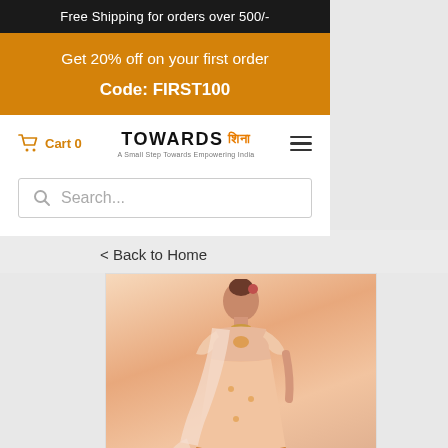Free Shipping for orders over 500/-
Get 20% off on your first order
Code: FIRST100
Cart 0
[Figure (logo): TOWARDS brand logo with Hindi text and tagline 'A Small Step Towards Empowering India']
Search...
< Back to Home
[Figure (photo): Woman wearing a peach/blush Indian lehenga choli with embroidery and dupatta]